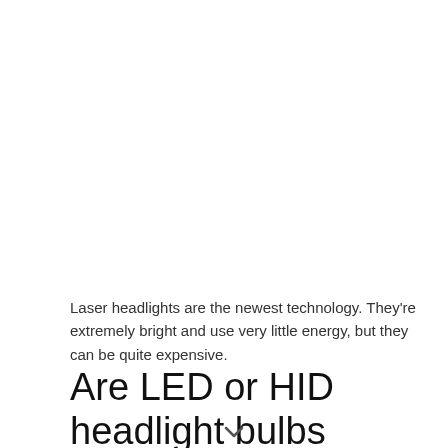Laser headlights are the newest technology. They're extremely bright and use very little energy, but they can be quite expensive.
Are LED or HID headlight bulbs better?